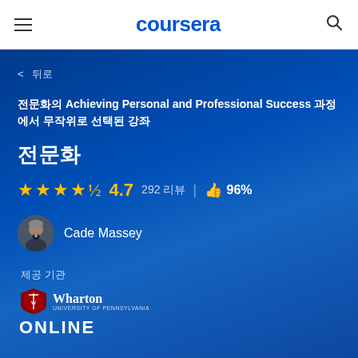coursera
< 뒤로
전문화의 Achieving Personal and Professional Success 과정에서 무작위로 선택된 강좌
전문화
★★★★½ 4.7  292 리뷰 | 👍 96%
Cade Massey
제공 기관
[Figure (logo): Wharton Online logo with shield emblem and 'Wharton UNIVERSITY OF PENNSYLVANIA ONLINE' text]